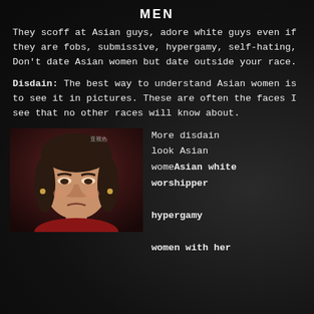MEN
They scoff at Asian guys, adore white guys even if they are fobs, submissive, hypergamy, self-hating, Don't date Asian women but date outside your race.
Disdain: The best way to understand Asian women is to see it in pictures. These are often the faces I see that no other races will know about.
[Figure (photo): A woman making a disdainful facial expression, with dark hair, wearing red, in front of a reddish background.]
More disdain look Asian womeAsian white worshipper hypergamy women with her